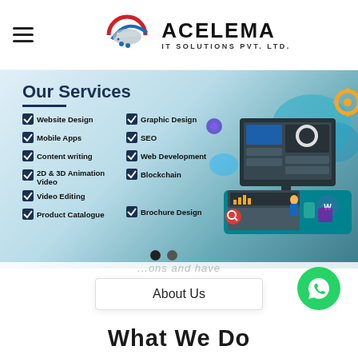[Figure (logo): Acelema IT Solutions Pvt. Ltd. logo with circular emblem and hamburger menu icon]
[Figure (infographic): Our Services banner with teal/blue gradient background listing: Website Design, Mobile Apps, Content writing, 2D & 3D Animation Video, Video Editing, Product Catalogue, Graphic Design, SEO, Web Development, Blockchain, Brochure Design; with tech illustration of monitor and laptop on right side]
...ons and have
About Us
[Figure (logo): WhatsApp icon green circle button]
What We Do